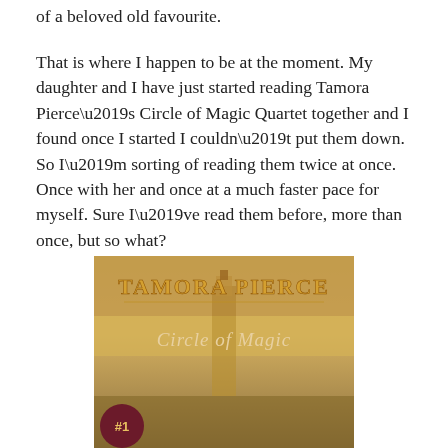of a beloved old favourite.
That is where I happen to be at the moment. My daughter and I have just started reading Tamora Pierce’s Circle of Magic Quartet together and I found once I started I couldn’t put them down. So I’m sorting of reading them twice at once. Once with her and once at a much faster pace for myself. Sure I’ve read them before, more than once, but so what?
[Figure (photo): Book cover image for Tamora Pierce's Circle of Magic, showing the title 'TAMORA PIERCE' in ornate gold lettering at top, 'Circle of Magic' in italic script below, with a golden-toned background depicting a tall tower/lighthouse and treeline, and a circular badge with '#1' in the lower left corner.]